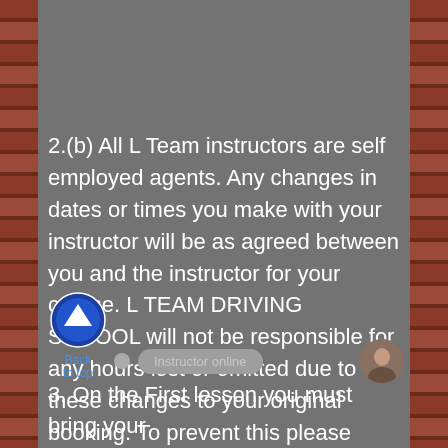2.(b) All L Team instructors are self employed agents. Any changes in dates or times you make with your instructor will be as agreed between you and the instructor for your course. L TEAM DRIVING SCHOOL will not be responsible for any hours lost or omitted due to these changes to your original booking. To prevent this please inform your instructor with a 24 hours minimum notice beforehand otherwise you will still be charged the full rate for the lesson.
[Figure (illustration): Blue circular arrow icon pointing upward with 'Back to top' label underneath]
3. On the First lesson you must bring your